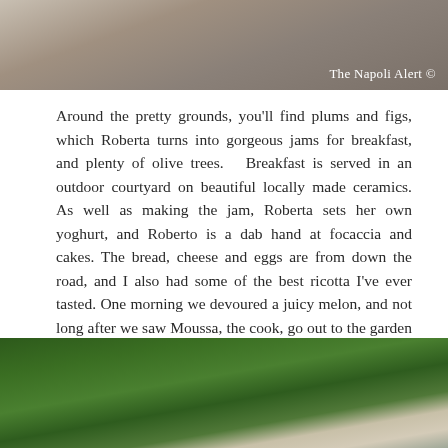[Figure (photo): Top portion of a stone wall or building exterior, weathered surface visible. Watermark credit reads 'The Napoli Alert ©' in bottom right corner.]
Around the pretty grounds, you'll find plums and figs, which Roberta turns into gorgeous jams for breakfast, and plenty of olive trees.   Breakfast is served in an outdoor courtyard on beautiful locally made ceramics. As well as making the jam, Roberta sets her own yoghurt, and Roberto is a dab hand at focaccia and cakes. The bread, cheese and eggs are from down the road, and I also had some of the best ricotta I've ever tasted. One morning we devoured a juicy melon, and not long after we saw Moussa, the cook, go out to the garden and grab another one.  Yes, the breakfast is about as fresh as it gets.
[Figure (photo): Aerial or elevated view of a garden or grounds with dense green trees and foliage, with white building structures visible among the greenery.]